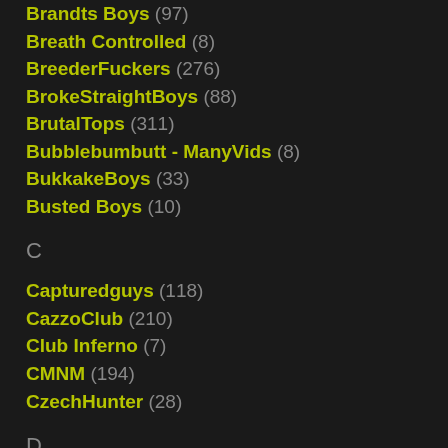Brandts Boys (97)
Breath Controlled (8)
BreederFuckers (276)
BrokeStraightBoys (88)
BrutalTops (311)
Bubblebumbutt - ManyVids (8)
BukkakeBoys (33)
Busted Boys (10)
C
Capturedguys (118)
CazzoClub (210)
Club Inferno (7)
CMNM (194)
CzechHunter (28)
D
DaddysBondageBoys (23)
Dirty Scout (36)
Discipline4boys (2)